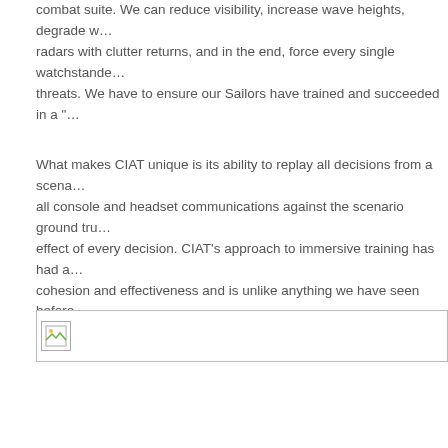combat suite. We can reduce visibility, increase wave heights, degrade w... radars with clutter returns, and in the end, force every single watchstande... threats. We have to ensure our Sailors have trained and succeeded in a "...
What makes CIAT unique is its ability to replay all decisions from a scena... all console and headset communications against the scenario ground tru... effect of every decision. CIAT’s approach to immersive training has had a... cohesion and effectiveness and is unlike anything we have seen before.
[Figure (photo): Broken image placeholder shown with small image icon in top-left of a bordered box]